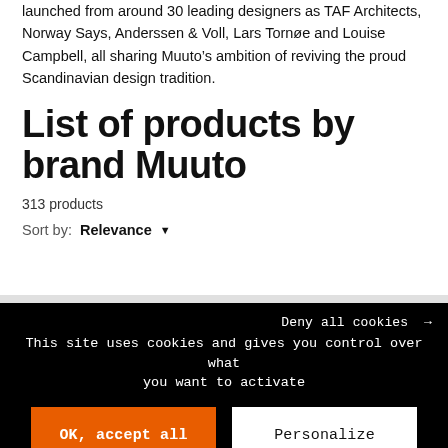launched from around 30 leading designers as TAF Architects, Norway Says, Anderssen & Voll, Lars Tornøe and Louise Campbell, all sharing Muuto's ambition of reviving the proud Scandinavian design tradition.
List of products by brand Muuto
313 products
Sort by: Relevance
Deny all cookies →
This site uses cookies and gives you control over what you want to activate
OK, accept all
Personalize